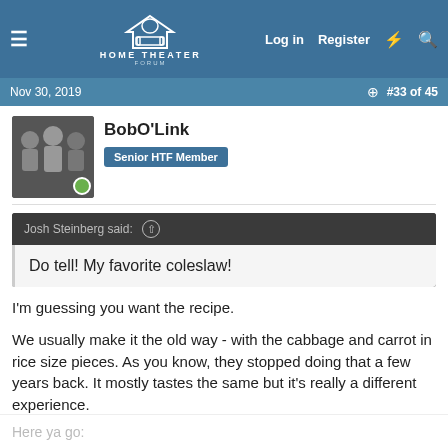HOME THEATER FORUM — Log in  Register
Nov 30, 2019   #33 of 45
BobO'Link
Senior HTF Member
Josh Steinberg said: Do tell! My favorite coleslaw!
I'm guessing you want the recipe.

We usually make it the old way - with the cabbage and carrot in rice size pieces. As you know, they stopped doing that a few years back. It mostly tastes the same but it's really a different experience.
Here ya go: